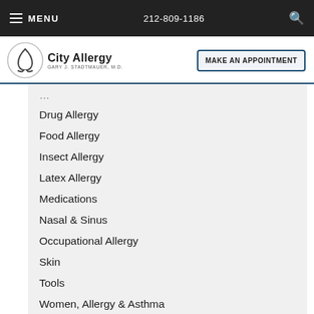MENU  212-809-1186
[Figure (logo): City Allergy logo with nose icon and text 'City Allergy, Gary J. Stadtmauer, M.D.']
MAKE AN APPOINTMENT
Drug Allergy
Food Allergy
Insect Allergy
Latex Allergy
Medications
Nasal & Sinus
Occupational Allergy
Skin
Tools
Women, Allergy & Asthma